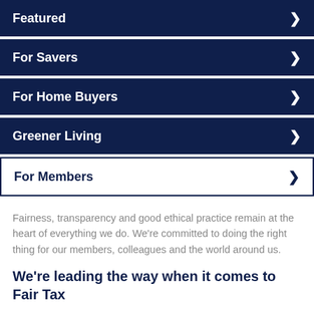Featured
For Savers
For Home Buyers
Greener Living
For Members
Fairness, transparency and good ethical practice remain at the heart of everything we do. We're committed to doing the right thing for our members, colleagues and the world around us.
We're leading the way when it comes to Fair Tax
Tax funds the services we all rely on, like education,